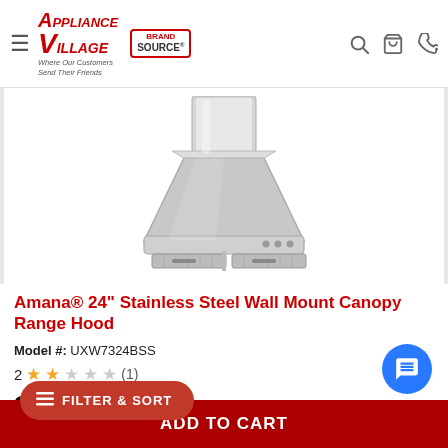Appliance Village — Where Our Customers Send Their Friends | Brand Source
[Figure (photo): Amana 24-inch stainless steel wall mount canopy range hood, viewed from below at an angle, showing chimney stack, trapezoidal canopy body, and grease filters on white background]
Amana® 24" Stainless Steel Wall Mount Canopy Range Hood
Model #: UXW7324BSS
2 ★★☆☆☆ (1)
$969.95